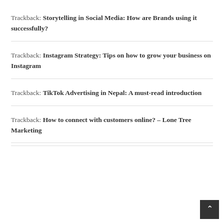Trackback: Storytelling in Social Media: How are Brands using it successfully?
Trackback: Instagram Strategy: Tips on how to grow your business on Instagram
Trackback: TikTok Advertising in Nepal: A must-read introduction
Trackback: How to connect with customers online? – Lone Tree Marketing